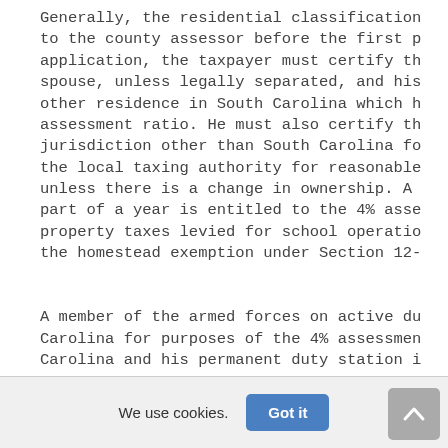Generally, the residential classification to the county assessor before the first p application, the taxpayer must certify th spouse, unless legally separated, and his other residence in South Carolina which h assessment ratio. He must also certify th jurisdiction other than South Carolina fo the local taxing authority for reasonable unless there is a change in ownership. A part of a year is entitled to the 4% asse property taxes levied for school operatio the homestead exemption under Section 12-
A member of the armed forces on active du Carolina for purposes of the 4% assessmen Carolina and his permanent duty station i